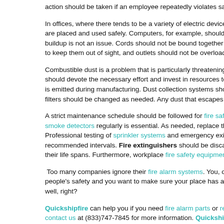action should be taken if an employee repeatedly violates safety regulations.
In offices, where there tends to be a variety of electric devices in use, it is important that they are placed and used safely. Computers, for example, should be given enough space so heat buildup is not an issue. Cords should not be bound together or run beneath carpets simply to keep them out of sight, and outlets should not be overloaded.
Combustible dust is a problem that is particularly threatening in industrial settings. Businesses should devote the necessary effort and invest in resources to reduce the amount of dust that is emitted during manufacturing. Dust collection systems should be kept in good working order; filters should be changed as needed. Any dust that escapes should be cleaned up promptly.
A strict maintenance schedule should be followed for fire safety equipment. Testing smoke detectors regularly is essential. As needed, replace the fire alarm components. Professional testing of sprinkler systems and emergency exit alarms should be done at recommended intervals. Fire extinguishers should be discarded and replaced at the end of their life spans. Furthermore, workplace fire safety equipment must never be tampered with.
Too many companies ignore their fire alarm systems. You, on the other hand, value people's safety and you want to make sure your place has an alarm system that functions well, right?
Quickshipfire can help you if you need fire alarm parts or replacement parts. Please contact us at (833)747-7845 for more information. Quickshipfire carries...